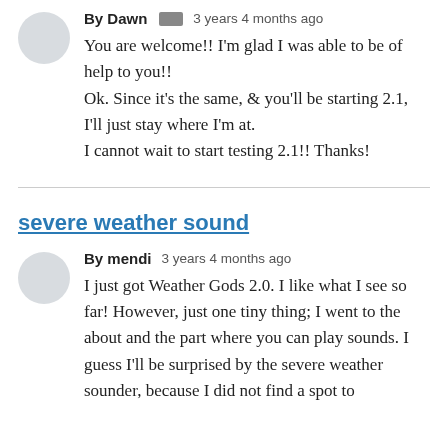By Dawn [icon] 3 years 4 months ago
You are welcome!! I'm glad I was able to be of help to you!!
Ok. Since it's the same, & you'll be starting 2.1, I'll just stay where I'm at.
I cannot wait to start testing 2.1!! Thanks!
severe weather sound
By mendi 3 years 4 months ago
I just got Weather Gods 2.0. I like what I see so far! However, just one tiny thing; I went to the about and the part where you can play sounds. I guess I'll be surprised by the severe weather sounder, because I did not find a spot to